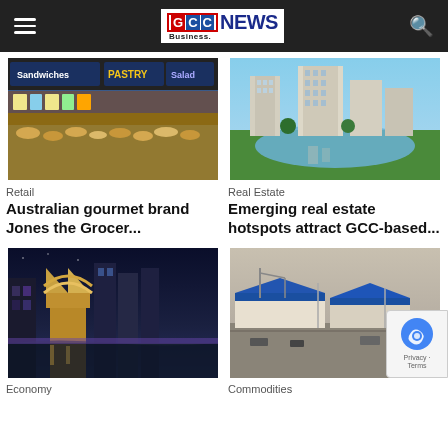GCC Business NEWS
[Figure (photo): Australian gourmet food store interior showing sandwiches, pastry, salad signage with baked goods on display]
Retail
Australian gourmet brand Jones the Grocer...
[Figure (photo): Aerial view of high-rise residential buildings reflected in a lake surrounded by green landscape]
Real Estate
Emerging real estate hotspots attract GCC-based...
[Figure (photo): Night-time exterior of modern mixed-use development with illuminated architecture and water feature]
Economy
[Figure (photo): Aerial view of port/industrial facility with large blue-roofed warehouse structures]
Commodities